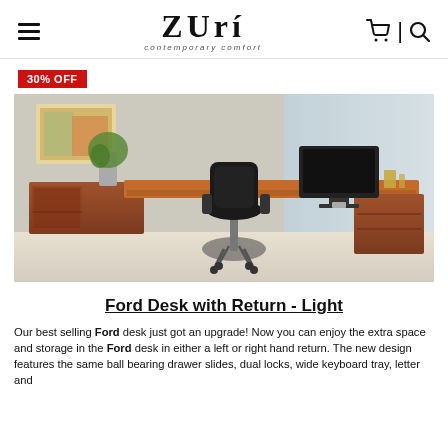Zuri contemporary comfort
30% OFF
[Figure (photo): A cherry wood executive desk with return, black leather office chair, computer monitor, and decorative items in a bright modern office setting.]
Ford Desk with Return - Light
Our best selling Ford desk just got an upgrade! Now you can enjoy the extra space and storage in the Ford desk in either a left or right hand return. The new design features the same ball bearing drawer slides, dual locks, wide keyboard tray, letter and